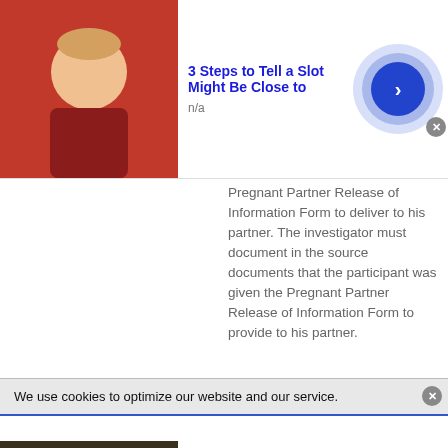[Figure (screenshot): Top advertisement banner showing an elderly man's photo, title '3 Steps to Tell a Slot Might Be Close to', subtitle 'n/a', and a blue circular arrow button]
Pregnant Partner Release of Information Form to deliver to his partner. The investigator must document in the source documents that the participant was given the Pregnant Partner Release of Information Form to provide to his partner.
8.3.5.2. Exposure During Breastfeeding. An exposure during
We use cookies to optimize our website and our service.
[Figure (screenshot): Bottom advertisement banner showing a person with a bag at a casino, title '3 Steps to Tell a Slot Might Be Close to', subtitle 'n/a', and a blue circular arrow button]